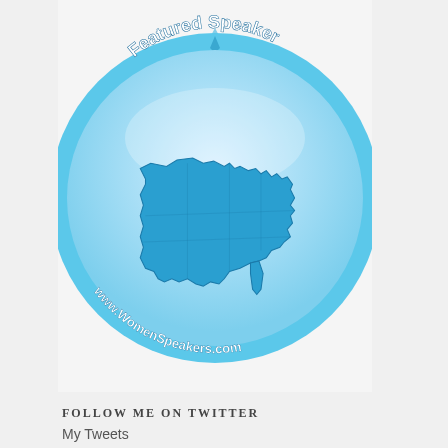[Figure (logo): WomenSpeakers.com Featured Speaker badge showing a blue USA map inside a blue starburst seal with text 'Featured Speaker' at top and 'www.WomenSpeakers.com' at bottom]
FOLLOW ME ON TWITTER
My Tweets
[Figure (logo): Compel logo — circular pink/light background with a basket icon and 'COMPEL' text]